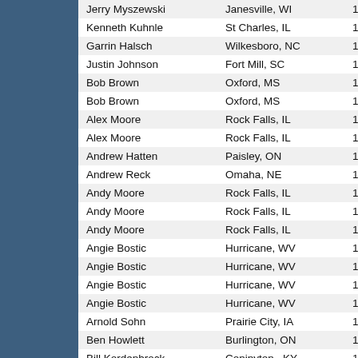| Name | City/State | Score | Category |
| --- | --- | --- | --- |
| Jerry Myszewski | Janesville, WI | 19.25 | Mi… |
| Kenneth Kuhnle | St Charles, IL | 19.25 | Ab… |
| Garrin Halsch | Wilkesboro, NC | 19.25 | La… |
| Justin Johnson | Fort Mill, SC | 19.25 | Mi… |
| Bob Brown | Oxford, MS | 19.125 | Bi… |
| Bob Brown | Oxford, MS | 19.125 | La… |
| Alex Moore | Rock Falls, IL | 19 | Sa… |
| Alex Moore | Rock Falls, IL | 19 | Sa… |
| Andrew Hatten | Paisley, ON | 19 | Litt… |
| Andrew Reck | Omaha, NE | 19 | Mi… |
| Andy Moore | Rock Falls, IL | 19 | Sa… |
| Andy Moore | Rock Falls, IL | 19 | Sa… |
| Andy Moore | Rock Falls, IL | 19 | Sa… |
| Angie Bostic | Hurricane, WV | 19 | Sa… |
| Angie Bostic | Hurricane, WV | 19 | Sa… |
| Angie Bostic | Hurricane, WV | 19 | Sa… |
| Angie Bostic | Hurricane, WV | 19 | Sa… |
| Arnold Sohn | Prairie City, IA | 19 | Mi… |
| Ben Howlett | Burlington, ON | 19 | La… |
| Bill Kordenbrock | Coninyton , KY | 19 | Ho… |
| Bill Redington | Newtown, PA | 19 | La… |
| Bob Anderson | Ankeny, IA | 19 | … |